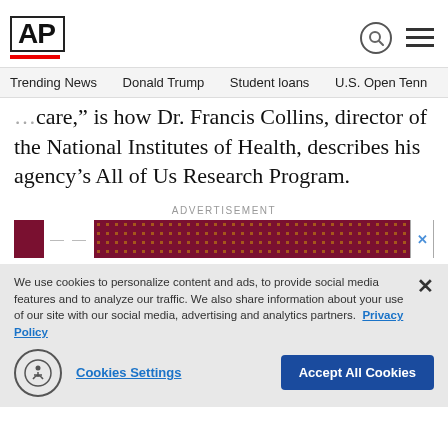AP
Trending News   Donald Trump   Student loans   U.S. Open Tenn
care,” is how Dr. Francis Collins, director of the National Institutes of Health, describes his agency’s All of Us Research Program.
[Figure (other): Advertisement banner with dark red/maroon background and dot pattern]
We use cookies to personalize content and ads, to provide social media features and to analyze our traffic. We also share information about your use of our site with our social media, advertising and analytics partners.  Privacy Policy
Cookies Settings   Accept All Cookies